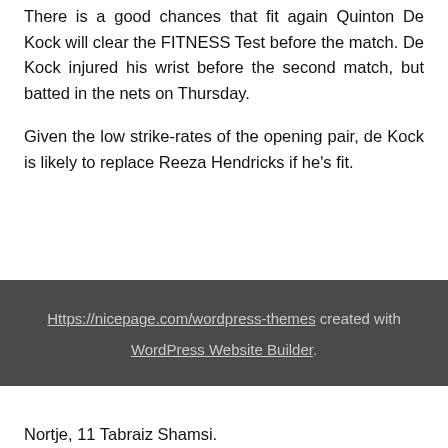There is a good chances that fit again Quinton De Kock will clear the FITNESS Test before the match. De Kock injured his wrist before the second match, but batted in the nets on Thursday.
Given the low strike-rates of the opening pair, de Kock is likely to replace Reeza Hendricks if he's fit.
Https://nicepage.com/wordpress-themes created with WordPress Website Builder.
Nortje, 11 Tabraiz Shamsi.